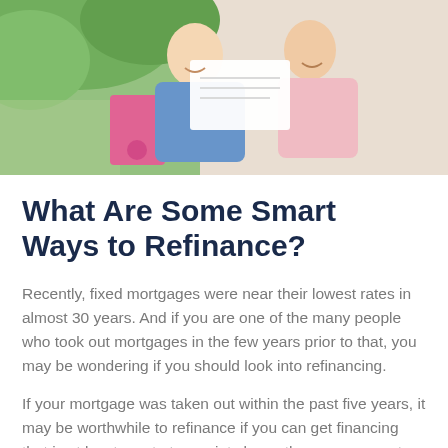[Figure (photo): A smiling couple, man in blue shirt and woman in light pink, reviewing documents together outdoors with green background.]
What Are Some Smart Ways to Refinance?
Recently, fixed mortgages were near their lowest rates in almost 30 years. And if you are one of the many people who took out mortgages in the few years prior to that, you may be wondering if you should look into refinancing.
If your mortgage was taken out within the past five years, it may be worthwhile to refinance if you can get financing that is at least one to two points lower than your current interest rate. You should plan on staying in the house long enough to pay off the loan